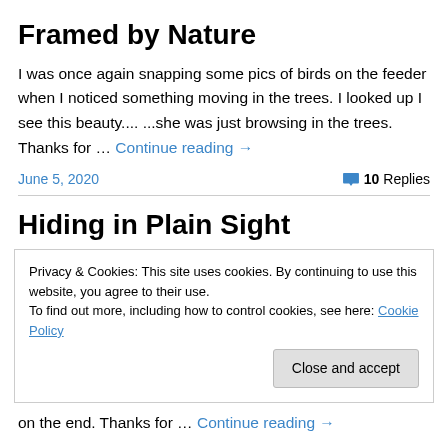Framed by Nature
I was once again snapping some pics of birds on the feeder when I noticed something moving in the trees. I looked up I see this beauty.... ...she was just browsing in the trees. Thanks for … Continue reading →
June 5, 2020   💬 10 Replies
Hiding in Plain Sight
Privacy & Cookies: This site uses cookies. By continuing to use this website, you agree to their use.
To find out more, including how to control cookies, see here: Cookie Policy
[Close and accept]
on the end. Thanks for … Continue reading →